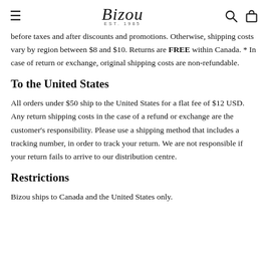Bizou EST. 1985
before taxes and after discounts and promotions. Otherwise, shipping costs vary by region between $8 and $10. Returns are FREE within Canada. * In case of return or exchange, original shipping costs are non-refundable.
To the United States
All orders under $50 ship to the United States for a flat fee of $12 USD. Any return shipping costs in the case of a refund or exchange are the customer's responsibility. Please use a shipping method that includes a tracking number, in order to track your return. We are not responsible if your return fails to arrive to our distribution centre.
Restrictions
Bizou ships to Canada and the United States only.